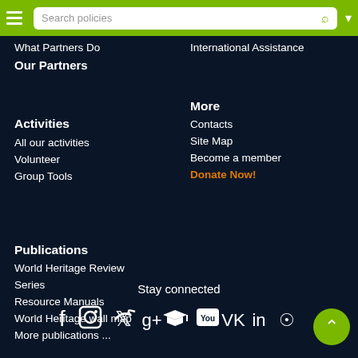Search policies
What Partners Do
Our Partners
Activities
All our activities
Volunteer
Group Tools
International Assistance
More
Contacts
Site Map
Become a member
Donate Now!
Publications
World Heritage Review Series
Resource Manuals
World Heritage wall map
More publications ...
Stay connected